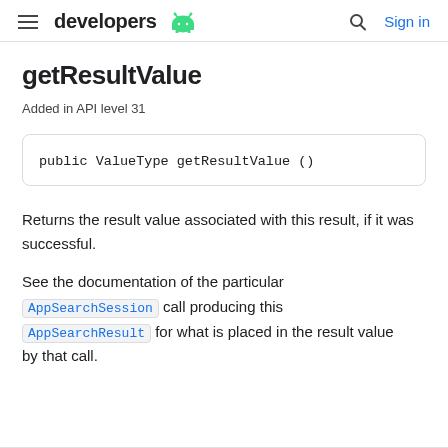developers [android logo] | Sign in
getResultValue
Added in API level 31
Returns the result value associated with this result, if it was successful.
See the documentation of the particular AppSearchSession call producing this AppSearchResult for what is placed in the result value by that call.